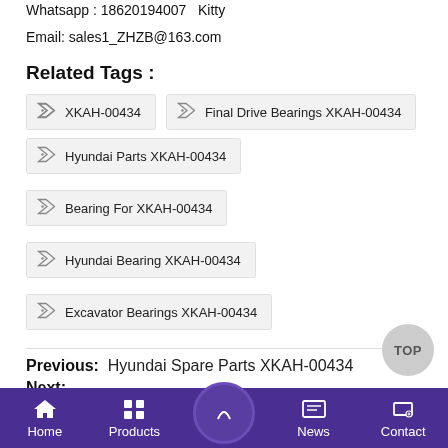Whatsapp : 18620194007   Kitty
Email: sales1_ZHZB@163.com
Related Tags :
XKAH-00434
Final Drive Bearings XKAH-00434
Hyundai Parts XKAH-00434
Bearing For XKAH-00434
Hyundai Bearing XKAH-00434
Excavator Bearings XKAH-00434
Previous: Hyundai Spare Parts XKAH-00434
Home | Products | News | Contact